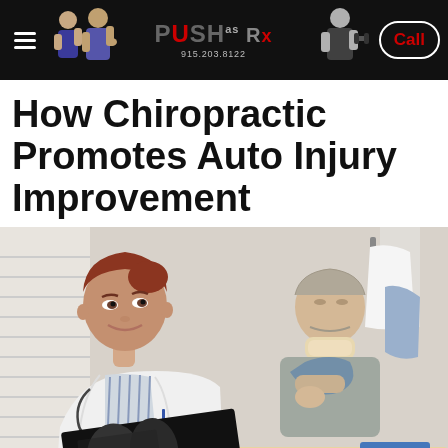PUSH as Rx | 915.203.8122 | Call
How Chiropractic Promotes Auto Injury Improvement
[Figure (photo): A female doctor in a white coat with red hair looks at an X-ray film, while a male patient sits in the background wearing a neck brace and arm sling.]